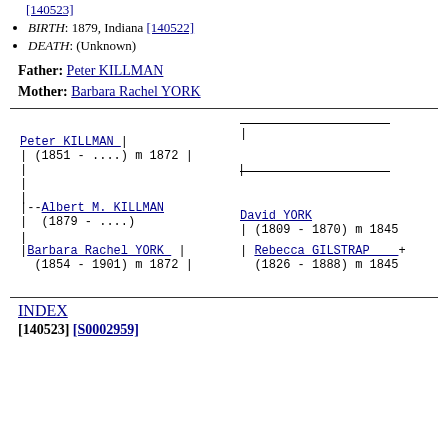[140523]
BIRTH: 1879, Indiana [140522]
DEATH: (Unknown)
Father: Peter KILLMAN
Mother: Barbara Rachel YORK
[Figure (other): Genealogical ancestor tree diagram showing Peter KILLMAN (1851 - ....) m 1872 and Albert M. KILLMAN (1879 - ....) with Barbara Rachel YORK (1854 - 1901) m 1872 as parents, and grandparents David YORK (1809 - 1870) m 1845 and Rebecca GILSTRAP (1826 - 1888) m 1845]
INDEX
[140523] [S0002959]